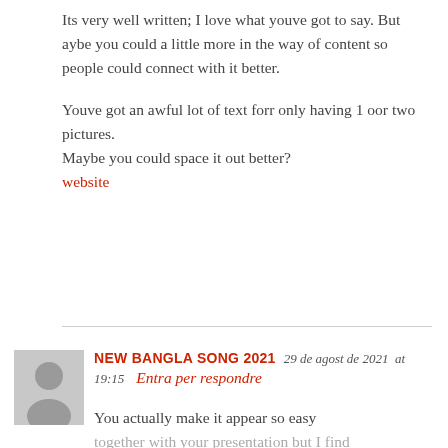Its very well written; I love what youve got to say. But aybe you could a little more in the way of content so people could connect with it better.

Youve got an awful lot of text forr only having 1 oor two pictures.
Maybe you could space it out better?
website
NEW BANGLA SONG 2021  29 de agost de 2021  at 19:15  Entra per respondre
You actually make it appear so easy together with your presentation but I find